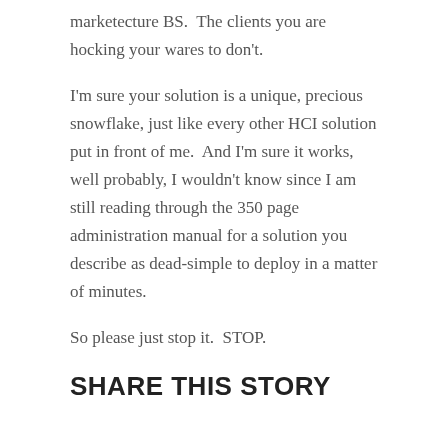marketecture BS.  The clients you are hocking your wares to don't.
I'm sure your solution is a unique, precious snowflake, just like every other HCI solution put in front of me.  And I'm sure it works, well probably, I wouldn't know since I am still reading through the 350 page administration manual for a solution you describe as dead-simple to deploy in a matter of minutes.
So please just stop it.  STOP.
SHARE THIS STORY